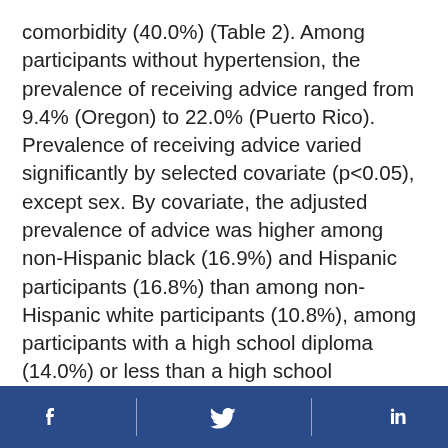comorbidity (40.0%) (Table 2). Among participants without hypertension, the prevalence of receiving advice ranged from 9.4% (Oregon) to 22.0% (Puerto Rico). Prevalence of receiving advice varied significantly by selected covariate (p<0.05), except sex. By covariate, the adjusted prevalence of advice was higher among non-Hispanic black (16.9%) and Hispanic participants (16.8%) than among non-Hispanic white participants (10.8%), among participants with a high school diploma (14.0%) or less than a high school education (14.9%) than among those with college or more (10.5%), among current or former smokers (13.9%) than among never smokers (11.9%), among those who had obesity (17.4%) versus those who did not (10.6%), and among those who reported ≥1 comorbidity (26.6%) than among
Facebook Twitter LinkedIn